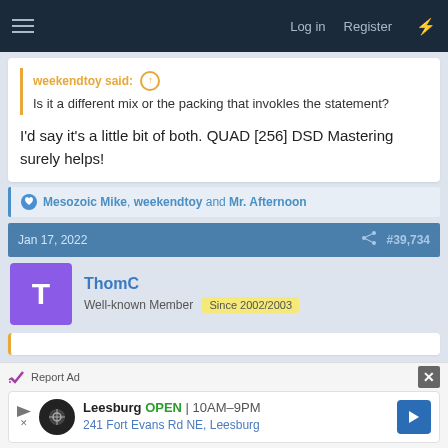Log in   Register
weekendtoy said:
Is it a different mix or the packing that invokles the statement?
I'd say it's a little bit of both. QUAD [256] DSD Mastering surely helps!
Mesozoic Mike, weekendtoy and Mr. Afternoon
Jan 17, 2022   #39,734
ThomC
Well-known Member   Since 2002/2003
Report Ad
Leesburg  OPEN  10AM–9PM
241 Fort Evans Rd NE, Leesburg